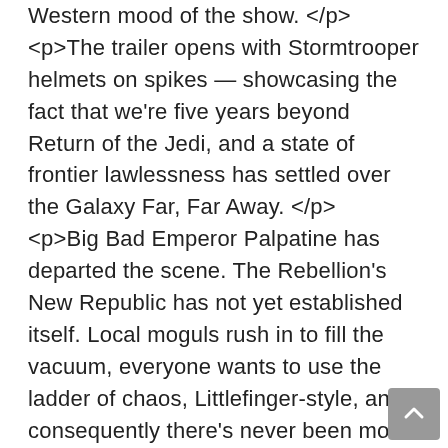Western mood of the show. </p> <p>The trailer opens with Stormtrooper helmets on spikes — showcasing the fact that we're five years beyond Return of the Jedi, and a state of frontier lawlessness has settled over the Galaxy Far, Far Away. </p> <p>Big Bad Emperor Palpatine has departed the scene. The Rebellion's New Republic has not yet established itself. Local moguls rush in to fill the vacuum, everyone wants to use the ladder of chaos, Littlefinger-style, and consequently there's never been more work for bounty hunters like the titular character, played by Pedro Pascal. </p> <p>Later in the trailer we see a character about to be sliced in two by one of those dilapidated and futuristic (future-rustic?) dilating doors. This is another signal: The Mandalorian is not your father's cute and cuddly Star Wars. As in that one shocking moment where Kenobi sliced the arm off a Mos Eisley Cantina patron, there will be